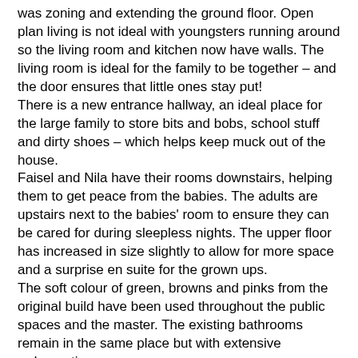was zoning and extending the ground floor. Open plan living is not ideal with youngsters running around so the living room and kitchen now have walls. The living room is ideal for the family to be together – and the door ensures that little ones stay put! There is a new entrance hallway, an ideal place for the large family to store bits and bobs, school stuff and dirty shoes – which helps keep muck out of the house. Faisel and Nila have their rooms downstairs, helping them to get peace from the babies. The adults are upstairs next to the babies' room to ensure they can be cared for during sleepless nights. The upper floor has increased in size slightly to allow for more space and a surprise en suite for the grown ups. The soft colour of green, browns and pinks from the original build have been used throughout the public spaces and the master. The existing bathrooms remain in the same place but with extensive redecoration. CONSTRUCTIVE CRITICISM: Yes CREDIT FOR CC/RECOLORS: N/A TWITTER TAG: (entirely optional but makes it easier for us to tag you) FACEBOOK PROFILE: (entirely optional but makes it easier